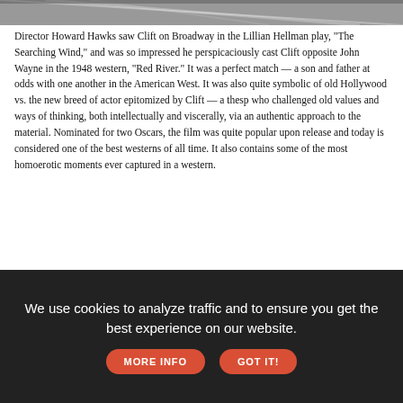[Figure (photo): Partial top image, cropped, showing dark and white abstract or hair-like textures]
Director Howard Hawks saw Clift on Broadway in the Lillian Hellman play, "The Searching Wind," and was so impressed he perspicaciously cast Clift opposite John Wayne in the 1948 western, "Red River." It was a perfect match — a son and father at odds with one another in the American West. It was also quite symbolic of old Hollywood vs. the new breed of actor epitomized by Clift — a thesp who challenged old values and ways of thinking, both intellectually and viscerally, via an authentic approach to the material. Nominated for two Oscars, the film was quite popular upon release and today is considered one of the best westerns of all time. It also contains some of the most homoerotic moments ever captured in a western.
"Red River" is available to rent on Prime, Apple TV and YouTube. The Criterion Edition Blu-ray is also available.
[Figure (screenshot): Advertisement banner showing '2022' text in red and other graphic elements]
We use cookies to analyze traffic and to ensure you get the best experience on our website. MORE INFO GOT IT!